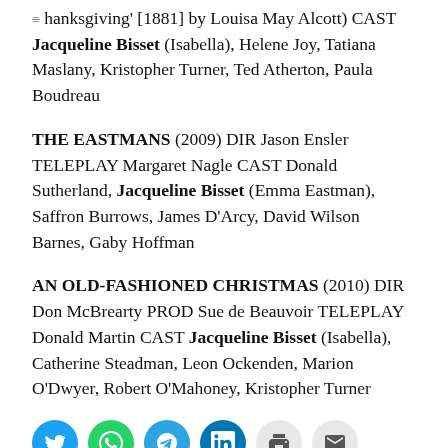Thanksgiving' [1881] by Louisa May Alcott) CAST Jacqueline Bisset (Isabella), Helene Joy, Tatiana Maslany, Kristopher Turner, Ted Atherton, Paula Boudreau
THE EASTMANS (2009) DIR Jason Ensler TELEPLAY Margaret Nagle CAST Donald Sutherland, Jacqueline Bisset (Emma Eastman), Saffron Burrows, James D'Arcy, David Wilson Barnes, Gaby Hoffman
AN OLD-FASHIONED CHRISTMAS (2010) DIR Don McBrearty PROD Sue de Beauvoir TELEPLAY Donald Martin CAST Jacqueline Bisset (Isabella), Catherine Steadman, Leon Ockenden, Marion O'Dwyer, Robert O'Mahoney, Kristopher Turner
[Figure (infographic): Social sharing buttons: Twitter (blue), WhatsApp (green), Telegram (blue), LinkedIn (blue), Print (light grey), Email (light grey)]